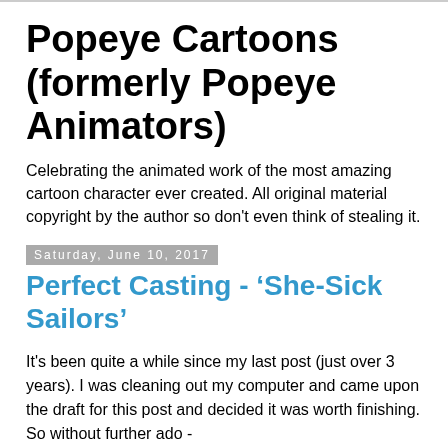Popeye Cartoons (formerly Popeye Animators)
Celebrating the animated work of the most amazing cartoon character ever created. All original material copyright by the author so don't even think of stealing it.
Saturday, June 10, 2017
Perfect Casting - ‘She-Sick Sailors’
It's been quite a while since my last post (just over 3 years). I was cleaning out my computer and came upon the draft for this post and decided it was worth finishing. So without further ado -
Somehow, by divine providence, stars aligning, whatever, an animator is perfectly cast to animate a section of cartoon. In that regard, one of my favourite bits is the end of ‘She-Sick